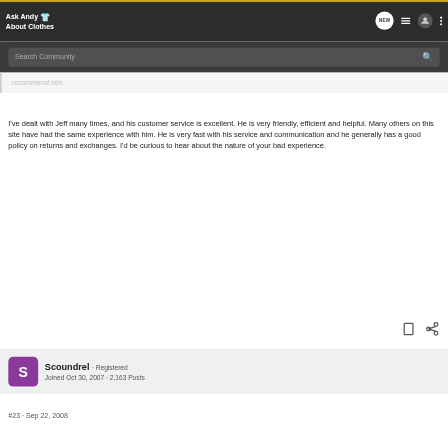Ask Andy About Clothes
Search Community
recommend him.
I've dealt with Jeff many times, and his customer service is excellent. He is very friendly, efficient and helpful. Many others on this site have had the same experience with him. He is very fast with his service and communication and he generally has a good policy on returns and exchanges. I'd be curious to hear about the nature of your bad experience.
Scoundrel · Registered
Joined Oct 30, 2007 · 2,163 Posts
#23 · Sep 22, 2008